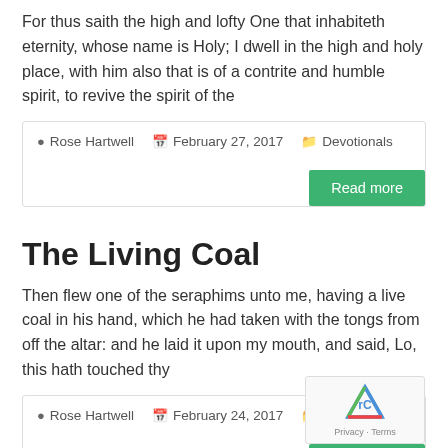For thus saith the high and lofty One that inhabiteth eternity, whose name is Holy; I dwell in the high and holy place, with him also that is of a contrite and humble spirit, to revive the spirit of the
Rose Hartwell   February 27, 2017   Devotionals
Read more
The Living Coal
Then flew one of the seraphims unto me, having a live coal in his hand, which he had taken with the tongs from off the altar: and he laid it upon my mouth, and said, Lo, this hath touched thy
Rose Hartwell   February 24, 2017   Devotio...
Read more